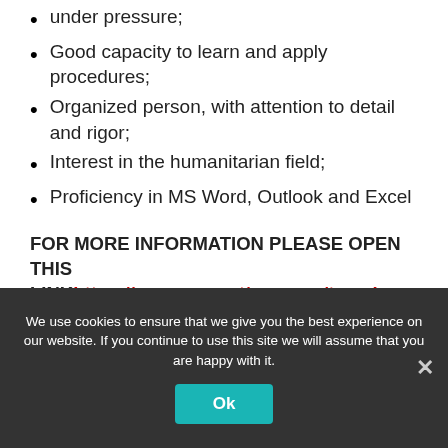under pressure;
Good capacity to learn and apply procedures;
Organized person, with attention to detail and rigor;
Interest in the humanitarian field;
Proficiency in MS Word, Outlook and Excel
FOR MORE INFORMATION PLEASE OPEN THIS LINK https://uncareer.net/vacancy/travel-intern-for-hq-298620
We use cookies to ensure that we give you the best experience on our website. If you continue to use this site we will assume that you are happy with it.